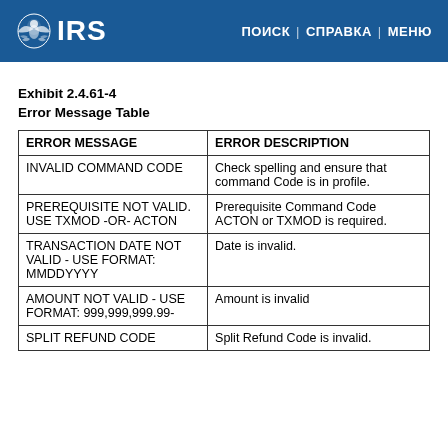IRS | ПОИСК | СПРАВКА | МЕНЮ
Exhibit 2.4.61-4
Error Message Table
| ERROR MESSAGE | ERROR DESCRIPTION |
| --- | --- |
| INVALID COMMAND CODE | Check spelling and ensure that command Code is in profile. |
| PREREQUISITE NOT VALID. USE TXMOD -OR- ACTON | Prerequisite Command Code ACTON or TXMOD is required. |
| TRANSACTION DATE NOT VALID - USE FORMAT: MMDDYYYY | Date is invalid. |
| AMOUNT NOT VALID - USE FORMAT: 999,999,999.99- | Amount is invalid |
| SPLIT REFUND CODE | Split Refund Code is invalid. |